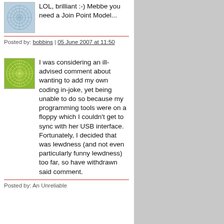LOL, brilliant :-) Mebbe you need a Join Point Model...
Posted by: bobbins | 05 June 2007 at 11:50
I was considering an ill-advised comment about wanting to add my own coding in-joke, yet being unable to do so because my programming tools were on a floppy which I couldn't get to sync with her USB interface. Fortunately, I decided that was lewdness (and not even particularly funny lewdness) too far, so have withdrawn said comment.
Posted by: An Unreliable